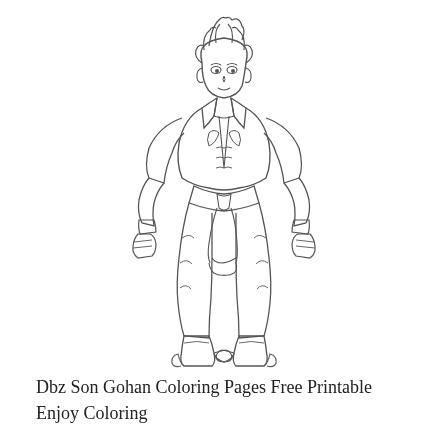[Figure (illustration): Line art coloring page illustration of Son Gohan from Dragon Ball Z, showing the character in a fighting stance with spiky hair, wearing a gi with a sash belt, baggy pants and boots, arms raised with fists clenched, full body front view.]
Dbz Son Gohan Coloring Pages Free Printable Enjoy Coloring